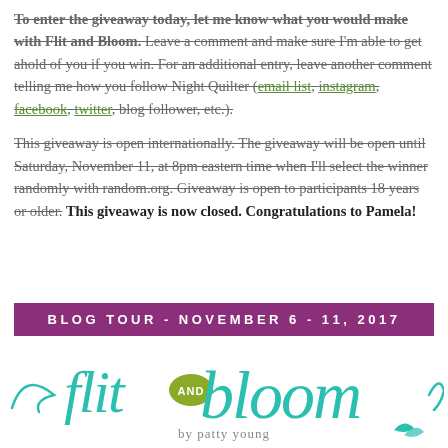To enter the giveaway today, let me know what you would make with Flit and Bloom. Leave a comment and make sure I'm able to get ahold of you if you win. For an additional entry, leave another comment telling me how you follow Night Quilter (email list, instagram, facebook, twitter, blog follower, etc.).
This giveaway is open internationally. The giveaway will be open until Saturday, November 11, at 8pm eastern time when I'll select the winner randomly with random.org. Giveaway is open to participants 18 years or older. This giveaway is now closed. Congratulations to Pamela!
[Figure (infographic): Purple banner reading BLOG TOUR - NOVEMBER 6 - 11, 2017]
[Figure (logo): Flit and Bloom by Patty Young logo in teal cursive script with olive green 'and' badge]